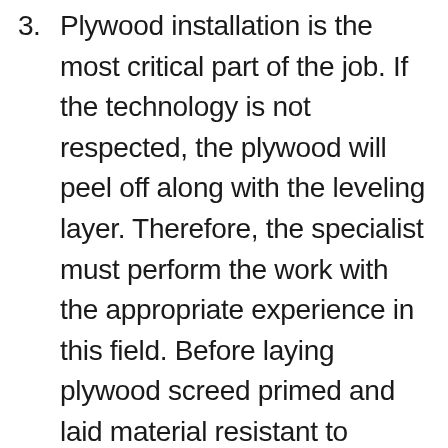3. Plywood installation is the most critical part of the job. If the technology is not respected, the plywood will peel off along with the leveling layer. Therefore, the specialist must perform the work with the appropriate experience in this field. Before laying plywood screed primed and laid material resistant to moisture squares 76 to 76 cm, fixing it with 9 screws. The thickness can vary fr [arrow] 10-22 cm. In a place where there are communications, plywood glued to a special adhesive squares 30 to 30 cm